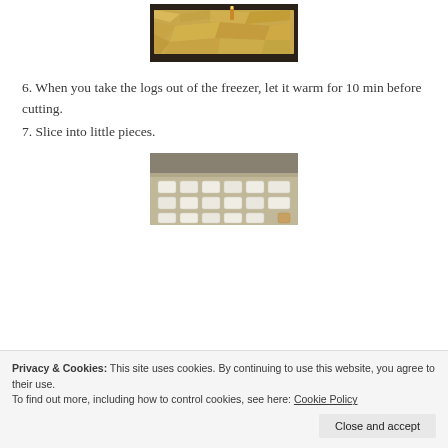[Figure (photo): Photo of food wrapped in aluminum foil on a baking sheet]
6. When you take the logs out of the freezer, let it warm for 10 min before cutting.
7. Slice into little pieces.
[Figure (photo): Photo of sliced pieces of food arranged on aluminum foil]
Privacy & Cookies: This site uses cookies. By continuing to use this website, you agree to their use.
To find out more, including how to control cookies, see here: Cookie Policy
Close and accept